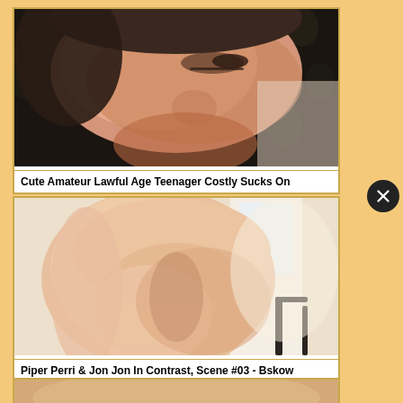[Figure (photo): Close-up blurry photo of a young woman's face looking downward, with floral wallpaper background]
Cute Amateur Lawful Age Teenager Costly Sucks On
[Figure (photo): Blurry photo showing a person's back/body from behind, with a bed frame visible]
Piper Perri & Jon Jon In Contrast, Scene #03 - Bskow